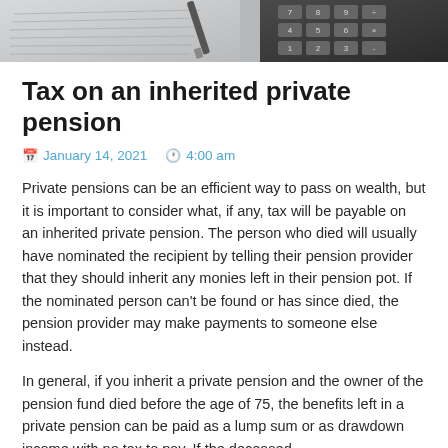[Figure (photo): Top portion of a photo showing a notepad with handwriting and a pen on the left, and a dark calculator with numeric keys on the right]
Tax on an inherited private pension
January 14, 2021   4:00 am
Private pensions can be an efficient way to pass on wealth, but it is important to consider what, if any, tax will be payable on an inherited private pension. The person who died will usually have nominated the recipient by telling their pension provider that they should inherit any monies left in their pension pot. If the nominated person can't be found or has since died, the pension provider may make payments to someone else instead.
In general, if you inherit a private pension and the owner of the pension fund died before the age of 75, the benefits left in a private pension can be paid as a lump sum or as drawdown income with no tax to pay. If the deceased